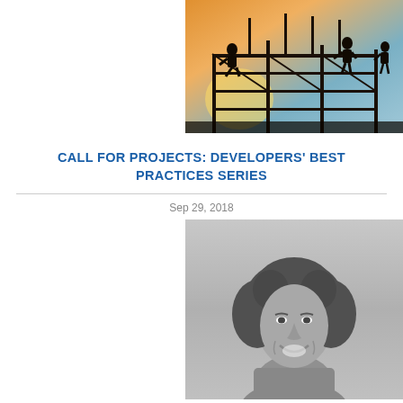[Figure (photo): Construction workers on scaffolding silhouetted against a warm sunset/sunrise sky with steel beams]
CALL FOR PROJECTS: DEVELOPERS' BEST PRACTICES SERIES
Sep 29, 2018
[Figure (photo): Black and white portrait photo of a young woman with curly hair, smiling]
FIABCI SCHOLARSHIP FOUNDATION ANNOUNCES GRANT